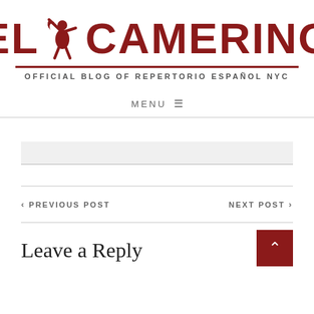[Figure (logo): El Camerino logo with red bull/matador figure between 'EL' and 'CAMERINO' text in dark red, with a horizontal underline beneath]
OFFICIAL BLOG OF REPERTORIO ESPAÑOL NYC
MENU ≡
PREVIOUS POST
NEXT POST
Leave a Reply